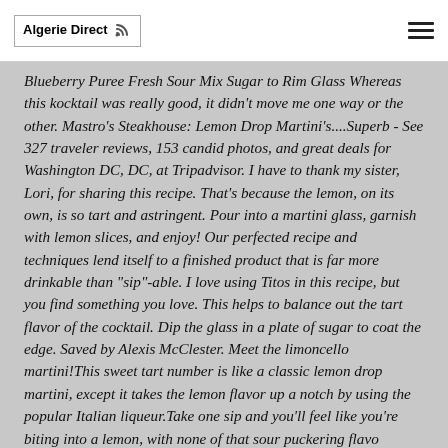Algerie Direct
Blueberry Puree Fresh Sour Mix Sugar to Rim Glass Whereas this kocktail was really good, it didn't move me one way or the other. Mastro's Steakhouse: Lemon Drop Martini's....Superb - See 327 traveler reviews, 153 candid photos, and great deals for Washington DC, DC, at Tripadvisor. I have to thank my sister, Lori, for sharing this recipe. That's because the lemon, on its own, is so tart and astringent. Pour into a martini glass, garnish with lemon slices, and enjoy! Our perfected recipe and techniques lend itself to a finished product that is far more drinkable than "sip"-able. I love using Titos in this recipe, but you find something you love. This helps to balance out the tart flavor of the cocktail. Dip the glass in a plate of sugar to coat the edge. Saved by Alexis McClester. Meet the limoncello martini!This sweet tart number is like a classic lemon drop martini, except it takes the lemon flavor up a notch by using the popular Italian liqueur.Take one sip and you'll feel like you're biting into a lemon, with none of that sour puckering flavor